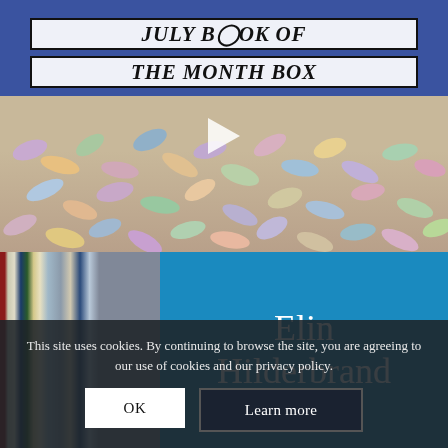[Figure (photo): Video thumbnail showing 'UNBOXING MY JULY BOOK OF THE MONTH BOX' with italic bold title overlaid on white banners with black borders, on a background of a blue box and colorful seeds/pebbles. A play button triangle is visible.]
[Figure (photo): Photo of book spines on the left and a blue Elin Hilderbrand book cover on the right, showing the author name 'Elin Hilderbrand' in large white serif text.]
This site uses cookies. By continuing to browse the site, you are agreeing to our use of cookies and our privacy policy.
OK
Learn more